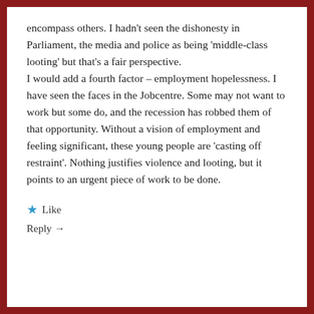encompass others. I hadn't seen the dishonesty in Parliament, the media and police as being 'middle-class looting' but that's a fair perspective.
I would add a fourth factor – employment hopelessness. I have seen the faces in the Jobcentre. Some may not want to work but some do, and the recession has robbed them of that opportunity. Without a vision of employment and feeling significant, these young people are 'casting off restraint'. Nothing justifies violence and looting, but it points to an urgent piece of work to be done.
★ Like
Reply →